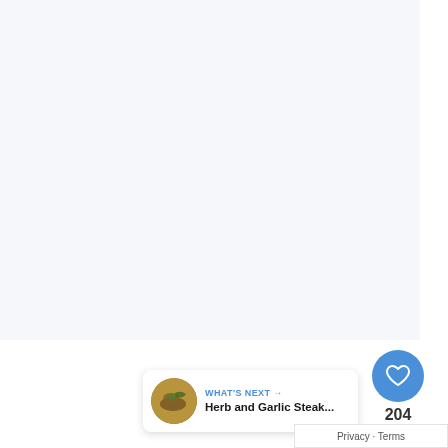[Figure (screenshot): Light grey/white blank content area taking up the upper portion of the page, resembling an empty web page or map embed area.]
[Figure (infographic): UI overlay in the bottom-right corner showing a blue circular heart/like button, a like count of 204, and a circular share button with a share icon.]
204
[Figure (infographic): A 'WHAT'S NEXT' card with a thumbnail image of a steak dish and the text 'Herb and Garlic Steak...']
WHAT'S NEXT → Herb and Garlic Steak...
Privacy · Terms